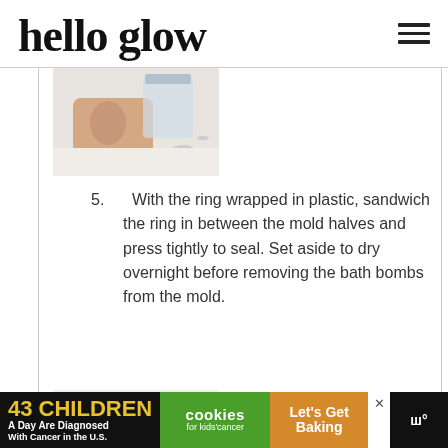hello glow
[Figure (photo): Hand holding a glass jar over a white surface with scattered small items]
5. With the ring wrapped in plastic, sandwich the ring in between the mold halves and press tightly to seal. Set aside to dry overnight before removing the bath bombs from the mold.
[Figure (photo): Bath bomb ingredients laid out on a white surface including dried flowers and herbs]
[Figure (other): Advertisement banner: 43 CHILDREN A Day Are Diagnosed With Cancer in the U.S. | cookies for kids cancer | Let's Get Baking]